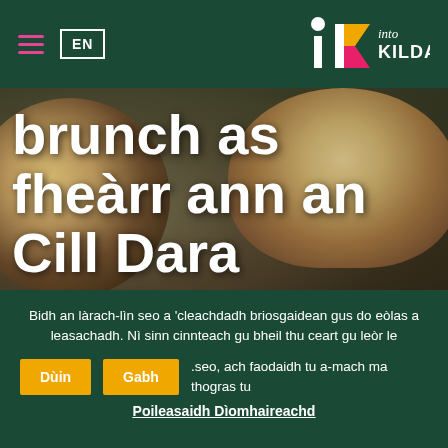EN | Into Kildare navigation header
brunch as fheàrr ann an Cill Dara
GEMS FALAICHTE, BIADH & DEOCH, MOLAIDHEAN IONADAIL
Bidh an làrach-lìn seo a 'cleachdadh briosgaidean gus do eòlas a leasachadh. Nì sinn cinnteach gu bheil thu ceart gu leòr le .seo, ach faodaidh tu a-mach ma thogras tu
Dùin | Gabh
Poileasaidh Dìomhaireachd